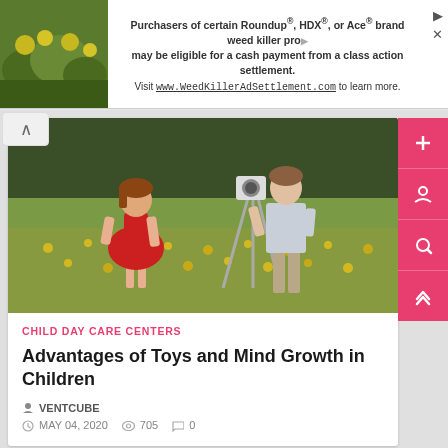[Figure (infographic): Advertisement banner: Purchasers of certain Roundup, HDX, or Ace brand weed killer products may be eligible for a cash payment from a class action settlement. Visit www.WeedKillerAdSettlement.com to learn more.]
[Figure (photo): Two children in a flower field — a girl in a red dress and a boy using a camera on a tripod]
CHILD DAY CARE CENTERS
Advantages of Toys and Mind Growth in Children
VENTCUBE
MAY 04, 2020  705  0